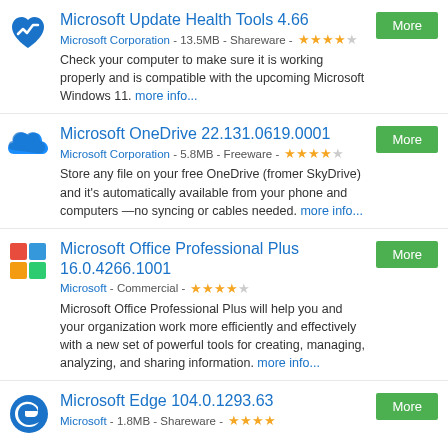Microsoft Update Health Tools 4.66 - Microsoft Corporation - 13.5MB - Shareware - ★★★★☆ - Check your computer to make sure it is working properly and is compatible with the upcoming Microsoft Windows 11. more info...
Microsoft OneDrive 22.131.0619.0001 - Microsoft Corporation - 5.8MB - Freeware - ★★★★☆ - Store any file on your free OneDrive (fromer SkyDrive) and it's automatically available from your phone and computers—no syncing or cables needed. more info...
Microsoft Office Professional Plus 16.0.4266.1001 - Microsoft - Commercial - ★★★★☆ - Microsoft Office Professional Plus will help you and your organization work more efficiently and effectively with a new set of powerful tools for creating, managing, analyzing, and sharing information. more info...
Microsoft Edge 104.0.1293.63 - Microsoft - 1.8MB - Shareware - ★★★★☆